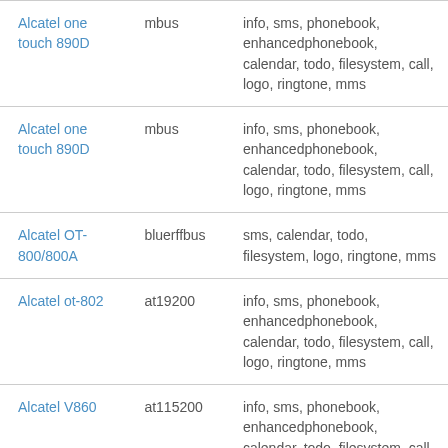| Device | Connection | Features |
| --- | --- | --- |
| Alcatel one touch 890D | mbus | info, sms, phonebook, enhancedphonebook, calendar, todo, filesystem, call, logo, ringtone, mms |
| Alcatel one touch 890D | mbus | info, sms, phonebook, enhancedphonebook, calendar, todo, filesystem, call, logo, ringtone, mms |
| Alcatel OT-800/800A | bluerffbus | sms, calendar, todo, filesystem, logo, ringtone, mms |
| Alcatel ot-802 | at19200 | info, sms, phonebook, enhancedphonebook, calendar, todo, filesystem, call, logo, ringtone, mms |
| Alcatel V860 | at115200 | info, sms, phonebook, enhancedphonebook, calendar, todo, filesystem, call, logo, ringtone, mms |